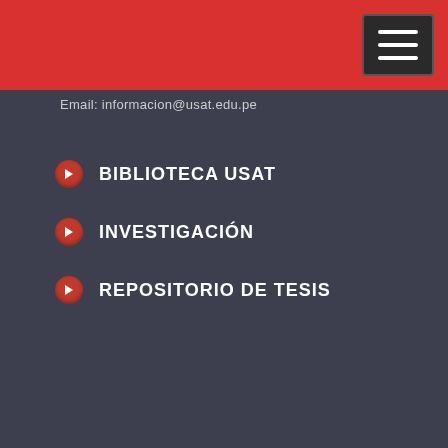Email: informacion@usat.edu.pe
BIBLIOTECA USAT
INVESTIGACIÓN
REPOSITORIO DE TESIS